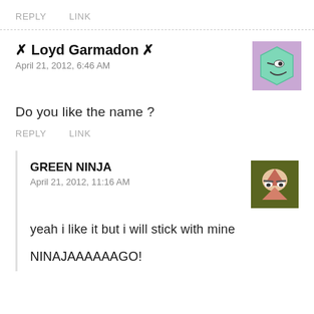REPLY   LINK
✗ Loyd Garmadon ✗
April 21, 2012, 6:46 AM
[Figure (illustration): Avatar showing a green hexagon with a smiling face on a purple background]
Do you like the name ?
REPLY   LINK
GREEN NINJA
April 21, 2012, 11:16 AM
[Figure (illustration): Avatar showing a stylized ninja face with dark olive/green background and pink/salmon triangular mask]
yeah i like it but i will stick with mine
NINAJAAAAAAGO!